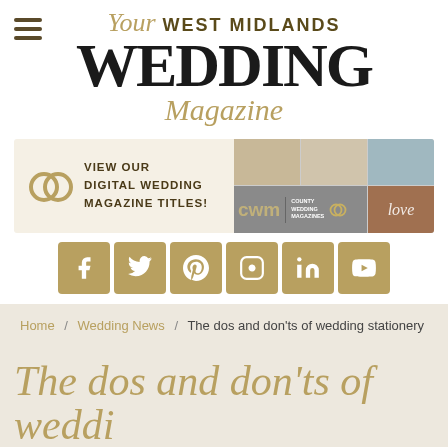Your WEST MIDLANDS WEDDING Magazine
[Figure (screenshot): Banner advertisement for County Wedding Magazines digital wedding magazine titles, showing magazine collage and wedding rings icon]
[Figure (infographic): Social media icons bar: Facebook, Twitter, Pinterest, Instagram, LinkedIn, YouTube — gold/tan colored square icons]
Home / Wedding News / The dos and don'ts of wedding stationery
The dos and don'ts of wedding stationery